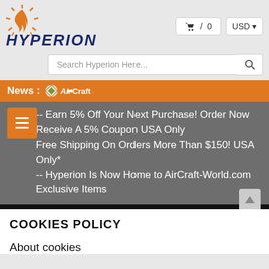[Figure (logo): Hyperion logo with flame icon and italic blue text HYPERION]
[Figure (screenshot): Cart button showing cart icon / 0 and USD dropdown]
Search Hyperion Here...
News : AirCraft.
-- Earn 5% Off Your Next Purchase! Order Now Receive A 5% Coupon USA Only
Free Shipping On Orders More Than $150! USA Only*
-- Hyperion Is Now Home to AirCraft-World.com Exclusive Items
SALE Bargain Sale ˅
COOKIES POLICY
About cookies